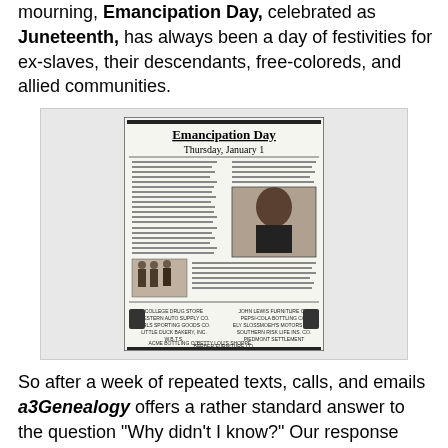mourning, Emancipation Day, celebrated as Juneteenth, has always been a day of festivities for ex-slaves, their descendants, free-coloreds, and allied communities.
[Figure (photo): A historic newspaper clipping titled 'Emancipation Day, Thursday, January 1' with text columns, a portrait photo of a Black man in formal attire, and sponsor listings at the bottom.]
So after a week of repeated texts, calls, and emails a3Genealogy offers a rather standard answer to the question "Why didn't I know?" Our response basically states "Juneteenth is part of America's well-known history...